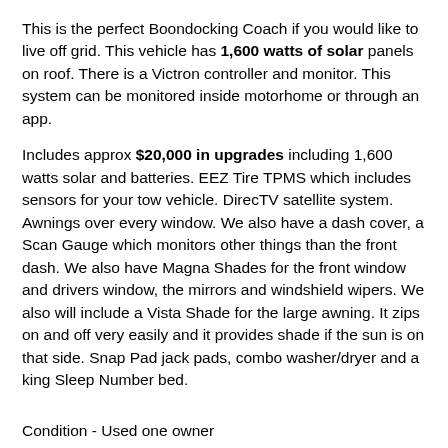This is the perfect Boondocking Coach if you would like to live off grid. This vehicle has 1,600 watts of solar panels on roof. There is a Victron controller and monitor.  This system can be monitored inside motorhome or through an app.
Includes approx $20,000 in upgrades including 1,600 watts solar and batteries.  EEZ Tire TPMS which includes sensors for your tow vehicle. DirecTV satellite system.  Awnings over every window.  We also have a dash cover, a Scan Gauge which monitors other things than the front dash. We also have Magna Shades for the front window and drivers window, the mirrors and windshield wipers. We also will include a Vista Shade for the large awning. It zips on and off very easily and it provides shade if the sun is on that side. Snap Pad jack pads, combo washer/dryer and a king Sleep Number bed.
Condition - Used one owner